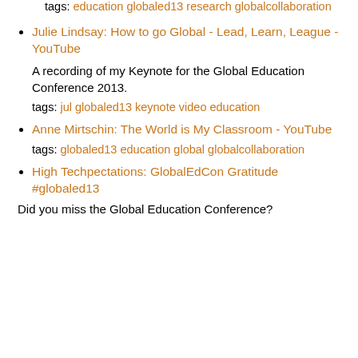tags: education globaled13 research globalcollaboration
Julie Lindsay: How to go Global - Lead, Learn, League - YouTube
A recording of my Keynote for the Global Education Conference 2013.
tags: jul globaled13 keynote video education
Anne Mirtschin: The World is My Classroom - YouTube
tags: globaled13 education global globalcollaboration
High Techpectations: GlobalEdCon Gratitude #globaled13
Did you miss the Global Education Conference?